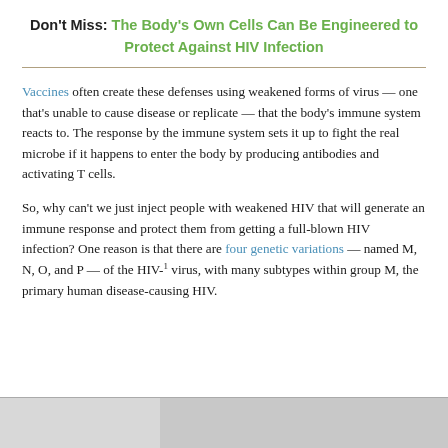Don't Miss: The Body's Own Cells Can Be Engineered to Protect Against HIV Infection
Vaccines often create these defenses using weakened forms of virus — one that's unable to cause disease or replicate — that the body's immune system reacts to. The response by the immune system sets it up to fight the real microbe if it happens to enter the body by producing antibodies and activating T cells.
So, why can't we just inject people with weakened HIV that will generate an immune response and protect them from getting a full-blown HIV infection? One reason is that there are four genetic variations — named M, N, O, and P — of the HIV-1 virus, with many subtypes within group M, the primary human disease-causing HIV.